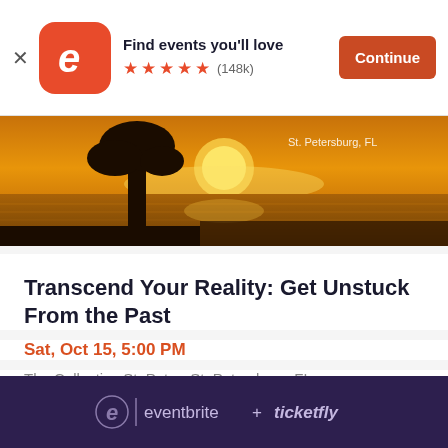[Figure (screenshot): Eventbrite app banner with logo, 'Find events you'll love' text, five orange stars, (148k) review count, and orange Continue button]
[Figure (photo): Silhouette of a person standing on a beach at golden sunset with text 'St. Petersburg, FL']
Transcend Your Reality: Get Unstuck From the Past
Sat, Oct 15, 5:00 PM
The Collective St. Pete • St. Petersburg, FL
$35 - $85
e | eventbrite + ticketfly